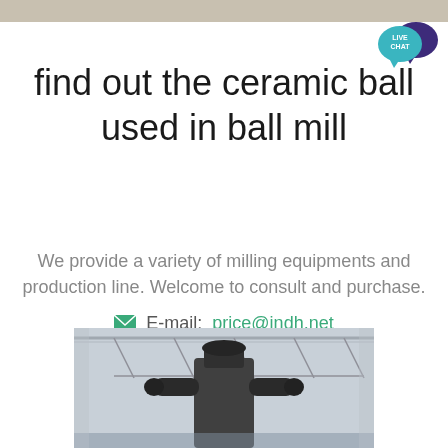find out the ceramic ball used in ball mill
We provide a variety of milling equipments and production line. Welcome to consult and purchase.
✉ E-mail: price@indh.net
[Figure (photo): Interior of an industrial factory facility showing large equipment and ceiling structure]